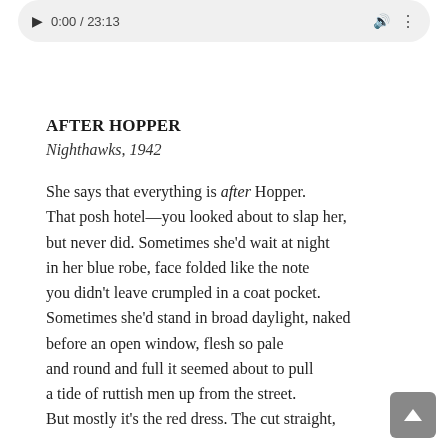[Figure (screenshot): Audio player bar showing playback time 0:00/23:13 with play button and volume/menu icons]
AFTER HOPPER
Nighthawks, 1942
She says that everything is after Hopper.
That posh hotel—you looked about to slap her,
but never did. Sometimes she'd wait at night
in her blue robe, face folded like the note
you didn't leave crumpled in a coat pocket.
Sometimes she'd stand in broad daylight, naked
before an open window, flesh so pale
and round and full it seemed about to pull
a tide of ruttish men up from the street.
But mostly it's the red dress. The cut straight,